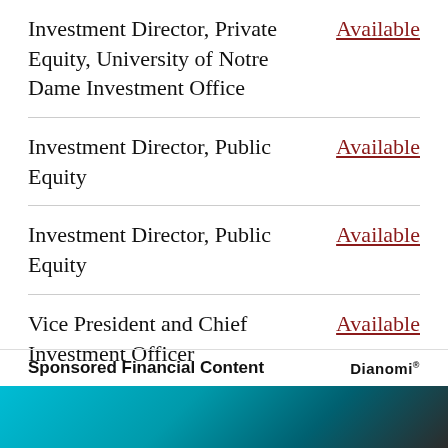| Position | Status |
| --- | --- |
| Investment Director, Private Equity, University of Notre Dame Investment Office | Available |
| Investment Director, Public Equity | Available |
| Investment Director, Public Equity | Available |
| Vice President and Chief Investment Officer | Available |
Sponsored Financial Content
[Figure (photo): Teal/cyan colored image strip at bottom of page, appears to be a decorative banner image]